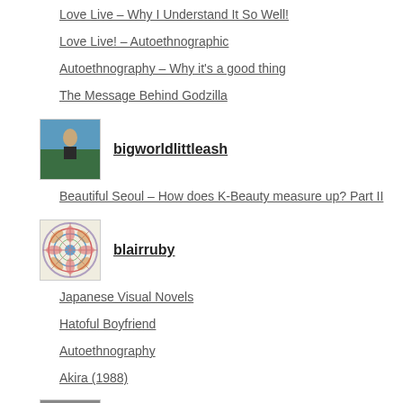Love Live – Why I Understand It So Well!
Love Live! – Autoethnographic
Autoethnography – Why it's a good thing
The Message Behind Godzilla
[Figure (photo): Profile photo of bigworldlittleash – person standing outdoors with scenic view]
bigworldlittleash
Beautiful Seoul – How does K-Beauty measure up? Part II
[Figure (photo): Profile avatar of blairruby – colorful mandala pattern]
blairruby
Japanese Visual Novels
Hatoful Boyfriend
Autoethnography
Akira (1988)
[Figure (photo): Partial profile avatar at bottom of page – grayscale portrait]